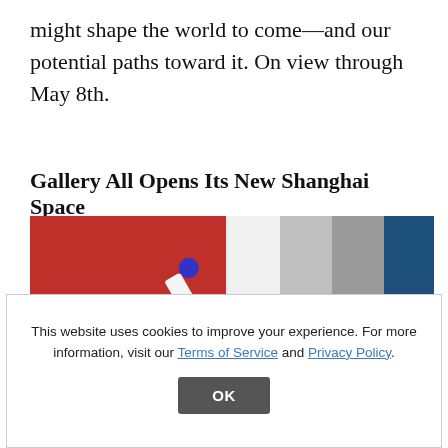might shape the world to come—and our potential paths toward it. On view through May 8th.
Gallery All Opens Its New Shanghai Space
[Figure (photo): Partial photo showing a marker/pen with a blue tip on a red background on the left side, and color swatches (white, light gray, dark gray, dark blue) on the right side.]
This website uses cookies to improve your experience. For more information, visit our Terms of Service and Privacy Policy.
OK